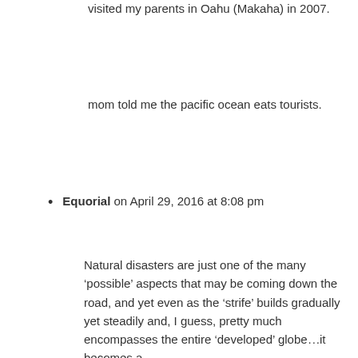visited my parents in Oahu (Makaha) in 2007.
mom told me the pacific ocean eats tourists.
Equorial on April 29, 2016 at 8:08 pm
Natural disasters are just one of the many ‘possible’ aspects that may be coming down the road, and yet even as the ‘strife’ builds gradually yet steadily and, I guess, pretty much encompasses the entire ‘developed’ globe…it becomes a